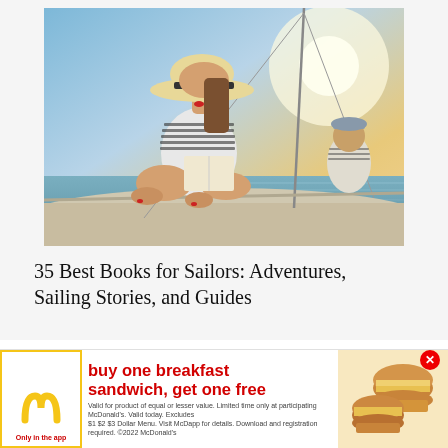[Figure (photo): A woman in a wide-brim straw hat and striped top sits cross-legged on the deck of a sailboat reading a book. In the background, a man in a striped shirt operates the sail. The scene is bathed in warm golden sunset light over calm water.]
35 Best Books for Sailors: Adventures, Sailing Stories, and Guides
We use cookies to improve the website experience. By using this website you agree to our privacy policy
[Figure (photo): McDonald's advertisement banner: buy one breakfast sandwich, get one free. Only in the app. Shows McDonald's golden arches logo and two breakfast sandwiches. Fine print: Valid for product of equal or lesser value. Limited time only at participating McDonald's. Valid today. Excludes $1 $2 $3 Dollar Menu. Visit McDapp for details. Download and registration required. ©2022 McDonald's]